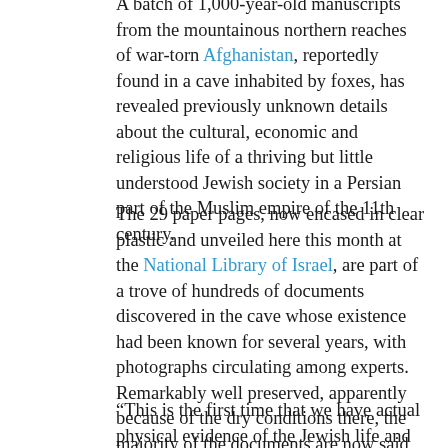A batch of 1,000-year-old manuscripts from the mountainous northern reaches of war-torn Afghanistan, reportedly found in a cave inhabited by foxes, has revealed previously unknown details about the cultural, economic and religious life of a thriving but little understood Jewish society in a Persian part of the Muslim empire of the 11th century.
The 29 paper pages, now encased in clear plastic and unveiled here this month at the National Library of Israel, are part of a trove of hundreds of documents discovered in the cave whose existence had been known for several years, with photographs circulating among experts. Remarkably well preserved, apparently because of the dry conditions there, the majority of the documents are now said to be in the hands of private dealers in Britain, Switzerland, and possibly the United States and the Middle East.
“This is the first time that we have actual physical evidence of the Jewish life and culture within the